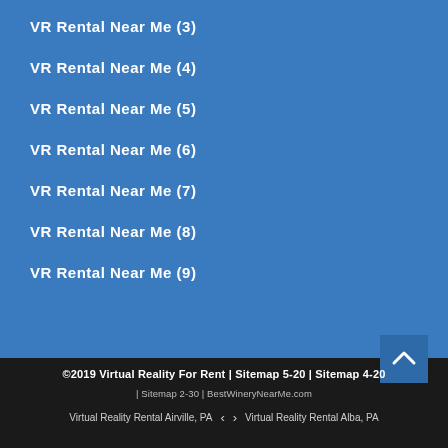VR Rental Near Me (3)
VR Rental Near Me (4)
VR Rental Near Me (5)
VR Rental Near Me (6)
VR Rental Near Me (7)
VR Rental Near Me (8)
VR Rental Near Me (9)
©2019 Virtual Reality For Rent | Sitemap 5-20 | Sitemap 4-20 | Sitemap 2-30 | BestWineryNearMe.com  Virtual Reality Rental Airville, PA  < >  Virtual Reality Rental Alba, PA